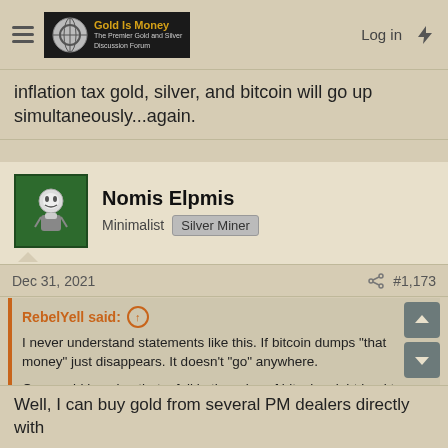Gold Is Money — The Premier Gold and Silver Discussion Forum | Log in
inflation tax gold, silver, and bitcoin will go up simultaneously...again.
Nomis Elpmis
Minimalist | Silver Miner
Dec 31, 2021   #1,173
RebelYell said: ↑

I never understand statements like this. If bitcoin dumps "that money" just disappears. It doesn't "go" anywhere.

One could imagine that a fall in the price of bitcoin might lead to a loss of faith in it as a store of value, and therefore lead to an increase in demand for gold as a replacement.

However that does not seem to have been the case - the correlat…
Click to expand...
Well, I can buy gold from several PM dealers directly with